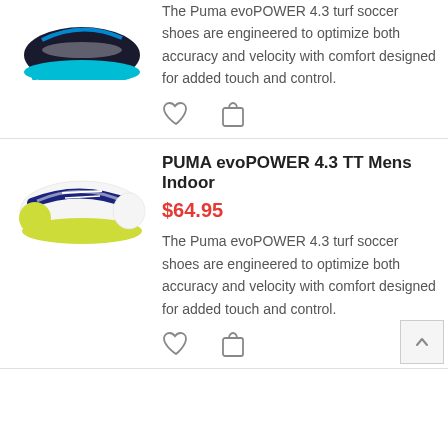[Figure (photo): Partial top view of a Puma evoPOWER soccer shoe in black/blue/cyan turf style]
The Puma evoPOWER 4.3 turf soccer shoes are engineered to optimize both accuracy and velocity with comfort designed for added touch and control.
[Figure (photo): Puma evoPOWER 4.3 TT Mens Indoor soccer shoe in white/navy/yellow]
PUMA evoPOWER 4.3 TT Mens Indoor
$64.95
The Puma evoPOWER 4.3 turf soccer shoes are engineered to optimize both accuracy and velocity with comfort designed for added touch and control.